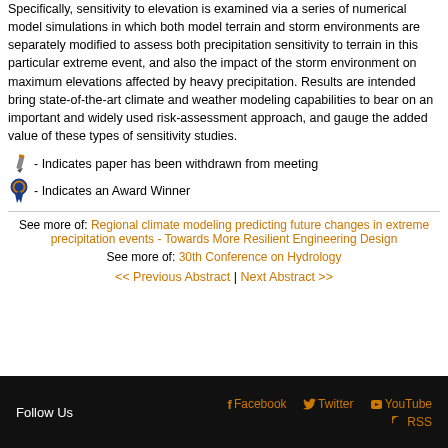Specifically, sensitivity to elevation is examined via a series of numerical model simulations in which both model terrain and storm environments are separately modified to assess both precipitation sensitivity to terrain in this particular extreme event, and also the impact of the storm environment on maximum elevations affected by heavy precipitation. Results are intended bring state-of-the-art climate and weather modeling capabilities to bear on an important and widely used risk-assessment approach, and gauge the added value of these types of sensitivity studies.
✏ - Indicates paper has been withdrawn from meeting
🎗 - Indicates an Award Winner
See more of: Regional climate modeling predicting future changes in extreme precipitation events - Towards More Resilient Engineering Design
See more of: 30th Conference on Hydrology
<< Previous Abstract | Next Abstract >>
Follow Us  Facebook  Twitter  YouTube  RSS